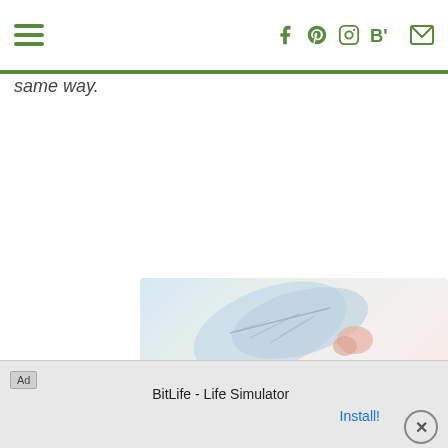Navigation bar with hamburger menu and social icons (Facebook, Pinterest, Instagram, BlogLovin, Email)
same way.
[Figure (photo): Partial view of a botanical/leaf decorative image, soft blue and pink tones]
Ad | BitLife - Life Simulator | Install!